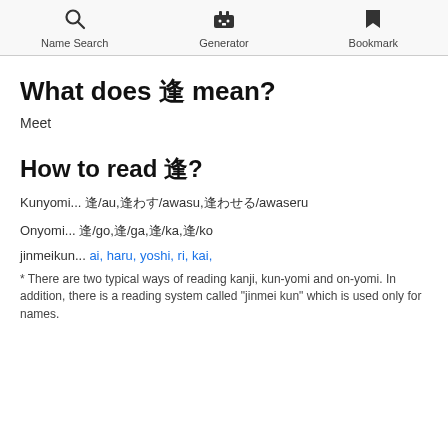Name Search  Generator  Bookmark
What does 逢 mean?
Meet
How to read 逢?
Kunyomi... 逢/au,逢わす/awasu,逢わせる/awaseru
Onyomi... 逢/go,逢/ga,逢/ka,逢/ko
jinmeikun... ai, haru, yoshi, ri, kai,
* There are two typical ways of reading kanji, kun-yomi and on-yomi. In addition, there is a reading system called "jinmei kun" which is used only for names.